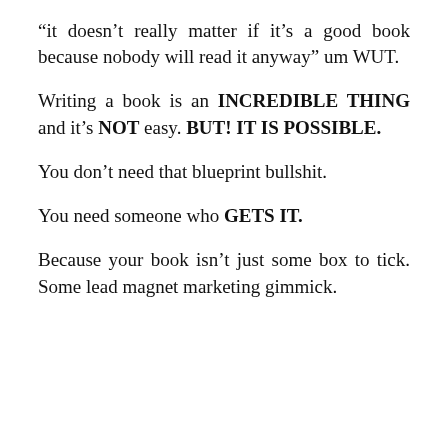“it doesn’t really matter if it’s a good book because nobody will read it anyway” um WUT.
Writing a book is an INCREDIBLE THING and it’s NOT easy. BUT! IT IS POSSIBLE.
You don’t need that blueprint bullshit.
You need someone who GETS IT.
Because your book isn’t just some box to tick. Some lead magnet marketing gimmick.